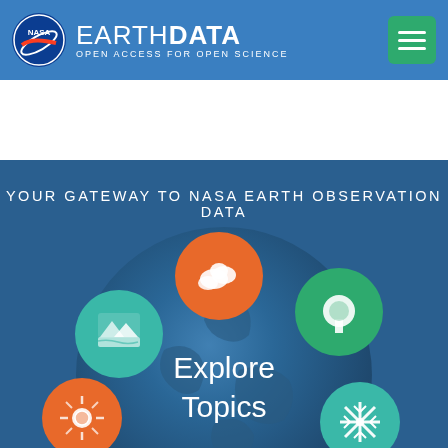[Figure (logo): NASA EarthData logo with NASA meatball logo on the left and EARTH DATA text with 'OPEN ACCESS FOR OPEN SCIENCE' subtitle]
[Figure (infographic): NASA EarthData 'Explore Topics' interactive graphic showing a stylized Earth globe in the center surrounded by 7 circular topic icons: atmosphere (orange, cloud icon), hydrosphere (teal, landscape icon), biosphere (green, tree icon), energy (orange, sun/atom icon), cryosphere (teal, snowflake icon), a green globe icon, and a human/society icon (orange, head with globe). Text 'Explore Topics' overlays the center. Background text: 'YOUR GATEWAY TO NASA EARTH OBSERVATION DATA']